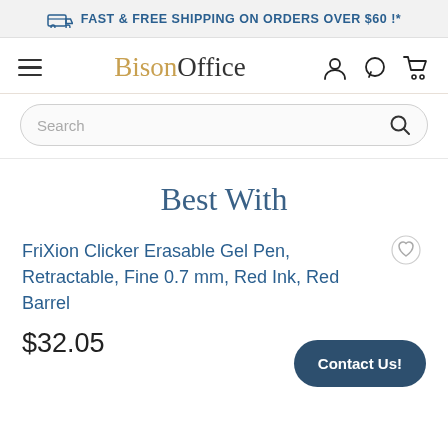FAST & FREE SHIPPING ON ORDERS OVER $60 !*
[Figure (logo): BisonOffice logo with hamburger menu and navigation icons (user, chat, cart)]
[Figure (screenshot): Search bar with magnifying glass icon]
Best With
FriXion Clicker Erasable Gel Pen, Retractable, Fine 0.7 mm, Red Ink, Red Barrel
$32.05
Contact Us!